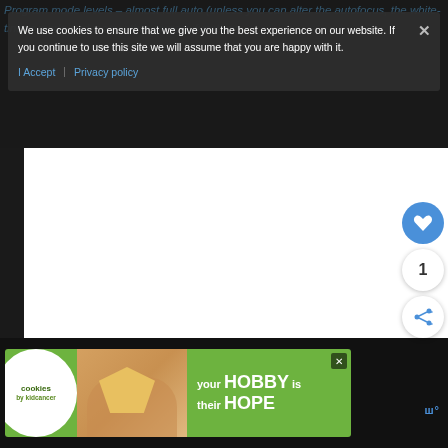Program mode levels – almost full auto (unless you can alter the autofocus, the white-tinting mode and many other camera functions...
We use cookies to ensure that we give you the best experience on our website. If you continue to use this site we will assume that you are happy with it.
I Accept  Privacy policy
[Figure (screenshot): White content area (article body, mostly blank/white)]
[Figure (infographic): Bottom advertisement banner: cookies by Kidcancer logo, photo of hands holding heart cookie, green background with 'your HOBBY is their HOPE' text, close button, and brand logo mark]
1